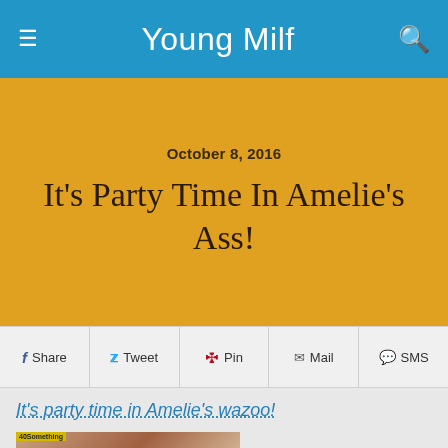Young Milf
October 8, 2016
It's Party Time In Amelie's Ass!
Share  Tweet  Pin  Mail  SMS
It's party time in Amelie's wazoo!
[Figure (photo): A man and woman in an intimate pose against a pink background, with a '40Something' watermark in the top left corner.]